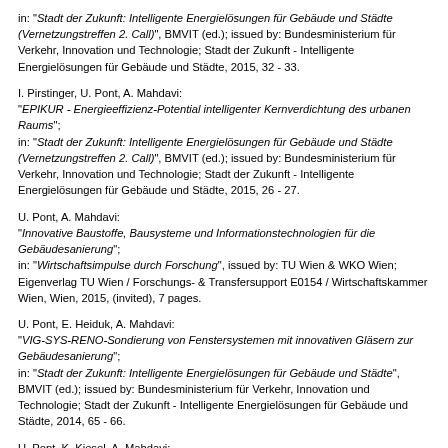in: "Stadt der Zukunft: Intelligente Energielösungen für Gebäude und Städte (Vernetzungstreffen 2. Call)", BMVIT (ed.); issued by: Bundesministerium für Verkehr, Innovation und Technologie; Stadt der Zukunft - Intelligente Energielösungen für Gebäude und Städte, 2015, 32 - 33.
I. Pirstinger, U. Pont, A. Mahdavi:
"EPIKUR - Energieeffizienz-Potential intelligenter Kernverdichtung des urbanen Raums";
in: "Stadt der Zukunft: Intelligente Energielösungen für Gebäude und Städte (Vernetzungstreffen 2. Call)", BMVIT (ed.); issued by: Bundesministerium für Verkehr, Innovation und Technologie; Stadt der Zukunft - Intelligente Energielösungen für Gebäude und Städte, 2015, 26 - 27.
U. Pont, A. Mahdavi:
"Innovative Baustoffe, Bausysteme und Informationstechnologien für die Gebäudesanierung";
in: "Wirtschaftsimpulse durch Forschung", issued by: TU Wien & WKO Wien; Eigenverlag TU Wien / Forschungs- & Transfersupport E0154 / Wirtschaftskammer Wien, Wien, 2015, (invited), 7 pages.
U. Pont, E. Heiduk, A. Mahdavi:
"VIG-SYS-RENO-Sondierung von Fenstersystemen mit innovativen Gläsern zur Gebäudesanierung";
in: "Stadt der Zukunft: Intelligente Energielösungen für Gebäude und Städte", BMVIT (ed.); issued by: Bundesministerium für Verkehr, Innovation und Technologie; Stadt der Zukunft - Intelligente Energielösungen für Gebäude und Städte, 2014, 65 - 66.
U. Pont, K. Kiesel, A. Mahdavi:
"LEI-Wand: Innovative Fassaden für natürliche Raumlüftung und optimierten Schallschutz";
in: "Stadt der Zukunft: Intelligente Energielösungen für Gebäude und Städte",